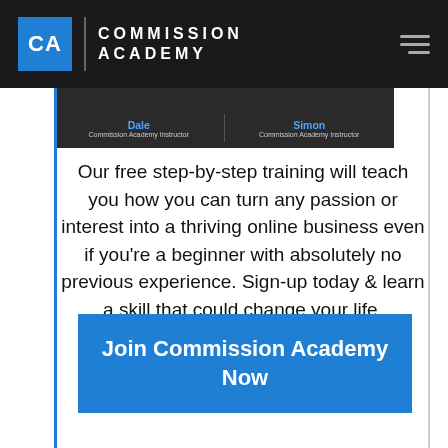CA | COMMISSION ACADEMY
[Figure (screenshot): Video thumbnail strip showing two instructors labeled 'Dale - Commission Academy Instructor' and 'Simon - Commission Academy Instructor']
Our free step-by-step training will teach you how you can turn any passion or interest into a thriving online business even if you're a beginner with absolutely no previous experience. Sign-up today & learn a skill that could change your life.
Join Commission Academy Now